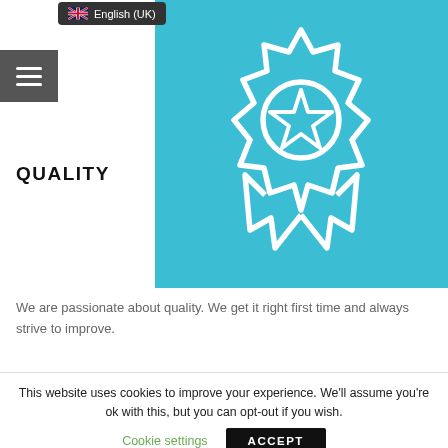English (UK)
[Figure (illustration): Teal/cyan background with a white outline award badge/medal icon featuring a star in the center and ribbon tails below]
QUALITY
We are passionate about quality. We get it right first time and always strive to improve.
This website uses cookies to improve your experience. We’ll assume you’re ok with this, but you can opt-out if you wish.
Cookie settings   ACCEPT